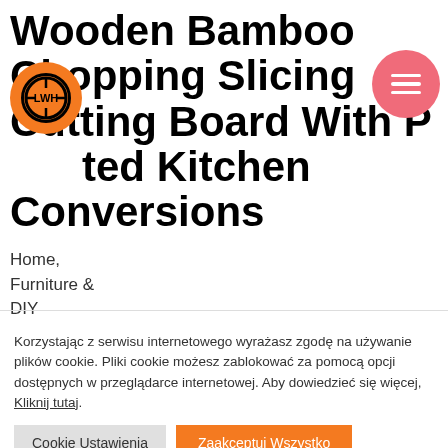Wooden Bamboo Chopping Slicing Cutting Board With Printed Kitchen Conversions
[Figure (logo): Orange circular logo with LWH letters and crosshair design]
[Figure (other): Pink/salmon circular hamburger menu button with three white horizontal bars]
Home,
Furniture &
DIY
Korzystając z serwisu internetowego wyrażasz zgodę na używanie plików cookie. Pliki cookie możesz zablokować za pomocą opcji dostępnych w przeglądarce internetowej. Aby dowiedzieć się więcej, Kliknij tutaj.
Cookie Ustawienia
Zaakceptuj Wszystko